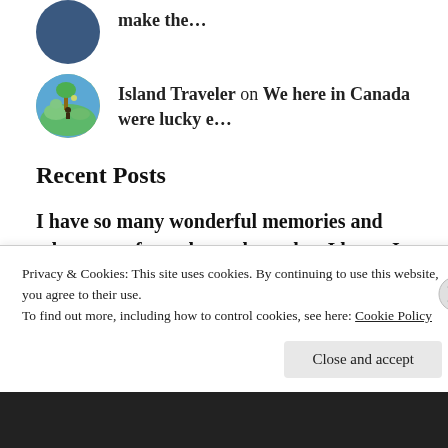make the…
Island Traveler on We here in Canada were lucky e…
Recent Posts
I have so many wonderful memories and adventures from those places, but I know I have many more places to go
One of my favourite things about London are its parks — huge, green areas, surprisingly neat for
Privacy & Cookies: This site uses cookies. By continuing to use this website, you agree to their use.
To find out more, including how to control cookies, see here: Cookie Policy
Close and accept